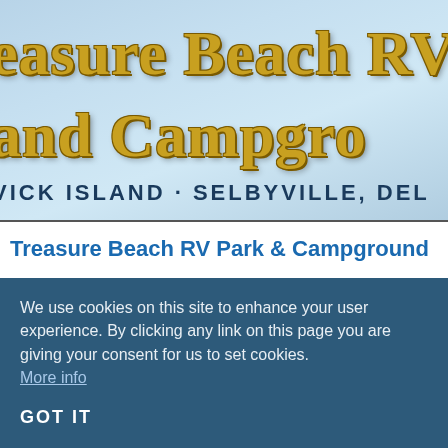[Figure (logo): Treasure Beach RV Park and Campground logo with golden styled text on a light blue sky background, with subtitle reading 'FENWICK ISLAND · SELBYVILLE, DEL']
Treasure Beach RV Park & Campground
Find your happy place at Treasure Beach RV Park in West Fenwick Island with
We use cookies on this site to enhance your user experience. By clicking any link on this page you are giving your consent for us to set cookies. More info
GOT IT